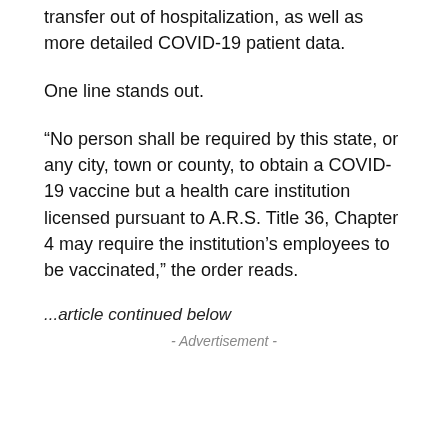transfer out of hospitalization, as well as more detailed COVID-19 patient data.
One line stands out.
“No person shall be required by this state, or any city, town or county, to obtain a COVID-19 vaccine but a health care institution licensed pursuant to A.R.S. Title 36, Chapter 4 may require the institution’s employees to be vaccinated,” the order reads.
...article continued below
- Advertisement -